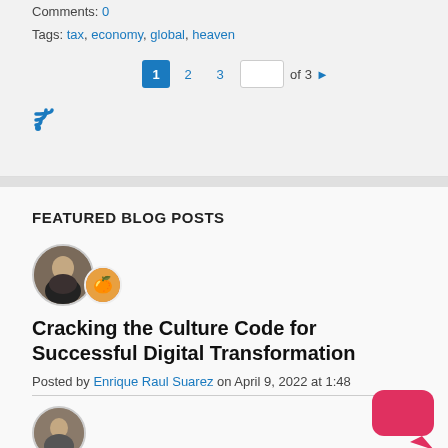Comments: 0
Tags: tax, economy, global, heaven
[Figure (infographic): Pagination controls showing page 1 active (blue), pages 2 and 3 as links, an input box, 'of 3' text, and a right-arrow button]
[Figure (infographic): RSS feed icon (orange/blue WiFi-like symbol)]
FEATURED BLOG POSTS
[Figure (photo): Two overlapping circular avatars: a larger one showing a person's photo, and a smaller orange/emoji-style avatar]
Cracking the Culture Code for Successful Digital Transformation
Posted by Enrique Raul Suarez on April 9, 2022 at 1:48
[Figure (infographic): Red speech bubble / chat bubble icon in lower right corner]
[Figure (photo): Circular avatar at bottom of page showing a person's photo]